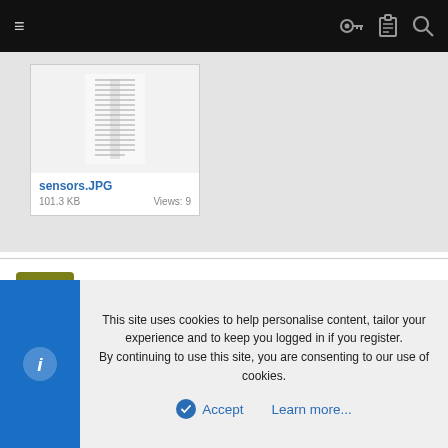[Figure (screenshot): Mobile browser top navigation bar with hamburger menu on left and key, clipboard, search icons on right, dark background]
[Figure (screenshot): File attachment card showing sensors.JPG thumbnail, 101.3 KB file size, Views: 9]
sensors.JPG
101.3 KB   Views: 9
tillburn
New Member
This site uses cookies to help personalise content, tailor your experience and to keep you logged in if you register.
By continuing to use this site, you are consenting to our use of cookies.
Accept
Learn more...